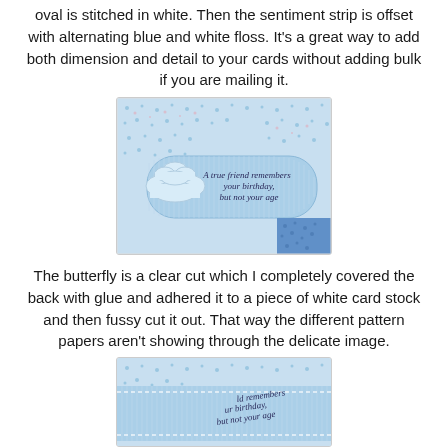oval is stitched in white. Then the sentiment strip is offset with alternating blue and white floss. It's a great way to add both dimension and detail to your cards without adding bulk if you are mailing it.
[Figure (photo): Close-up photo of a handmade card with blue patterned paper, a cloud die-cut shape, and a sentiment strip reading 'A true friend remembers your birthday, but not your age']
The butterfly is a clear cut which I completely covered the back with glue and adhered it to a piece of white card stock and then fussy cut it out. That way the different pattern papers aren't showing through the delicate image.
[Figure (photo): Close-up photo showing the card detail with sentiment text 'remembers your birthday, but not your age' visible on blue striped paper with white stitching]